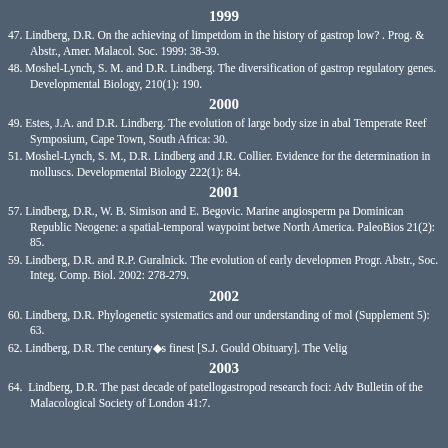1999
47. Lindberg, D.R. On the achieving of limpetdom in the history of gastrop low? . Prog. & Abstr., Amer. Malacol. Soc. 1999: 38-39.
48. Moshel-Lynch, S. M. and D.R. Lindberg. The diversification of gastrop regulatory genes. Developmental Biology, 210(1): 190.
2000
49. Estes, J.A. and D.R. Lindberg. The evolution of large body size in abal Temperate Reef Symposium, Cape Town, South Africa: 30.
51. Moshel-Lynch, S. M., D.R. Lindberg and J.R. Collier. Evidence for the determination in molluscs. Developmental Biology 222(1): 84.
2001
57. Lindberg, D.R., W. B. Simison and E. Begovic. Marine angiosperm pa Dominican Republic Neogene: a spatial-temporal waypoint betwe North America. PaleoBios 21(2): 85.
59. Lindberg, D.R. and R.P. Guralnick. The evolution of early developmen Progr. Abstr., Soc. Integ. Comp. Biol. 2002: 278-279.
2002
60. Lindberg, D.R. Phylogenetic systematics and our understanding of mol (Supplement 5): 63.
62. Lindberg, D.R. The century�s finest [S.J. Gould Obituary]. The Velig
2003
64. Lindberg, D.R. The past decade of patellogastropod research foci: Adv Bulletin of the Malacological Society of London 41:7.